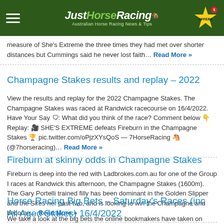JustHorseRacing – Australian Horse Racing News & Tips
measure of She's Extreme the three times they had met over shorter distances but Cummings said he never lost faith… Read More »
Champagne Stakes results and replay – 2022
View the results and replay for the 2022 Champagne Stakes. The Champagne Stakes was raced at Randwick racecourse on 16/4/2022. Have Your Say 🗨: What did you think of the race? Comment below 👇 Replay: 🎥 SHE'S EXTREME defeats Fireburn in the Champagne Stakes 🏆 pic.twitter.com/oPjzXYsQoS — 7HorseRacing 🐴 (@7horseracing)… Read More »
Fireburn at skinny odds in Champagne Stakes
Fireburn is deep into the red with Ladbrokes.com.au for one of the Group I races at Randwick this afternoon, the Champagne Stakes (1600m). The Gary Portelli trained filly has been dominant in the Golden Slipper and the Sires her past two, and is looking to win the Champagne and become… Read More »
Horse Racing Big Bets – Saturday's Races (inc All Aged Stakes) 16/4/2022
We take a look at the big bets the online bookmakers have taken on Saturday's